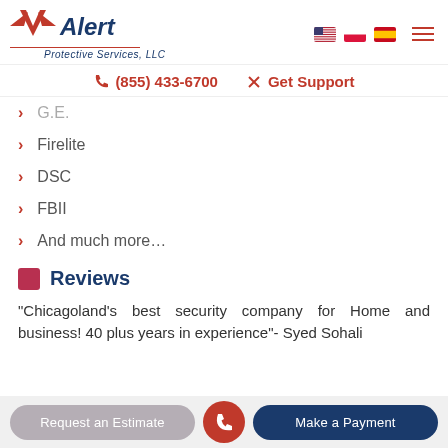Alert Protective Services, LLC — (855) 433-6700 | Get Support
G.E.
Firelite
DSC
FBII
And much more...
Reviews
“Chicagoland’s best security company for Home and business! 40 plus years in experience”- Syed Sohali